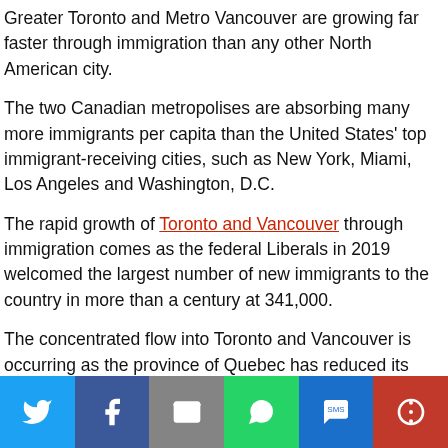Greater Toronto and Metro Vancouver are growing far faster through immigration than any other North American city.
The two Canadian metropolises are absorbing many more immigrants per capita than the United States' top immigrant-receiving cities, such as New York, Miami, Los Angeles and Washington, D.C.
The rapid growth of Toronto and Vancouver through immigration comes as the federal Liberals in 2019 welcomed the largest number of new immigrants to the country in more than a century at 341,000.
The concentrated flow into Toronto and Vancouver is occurring as the province of Quebec has reduced its immigration levels by